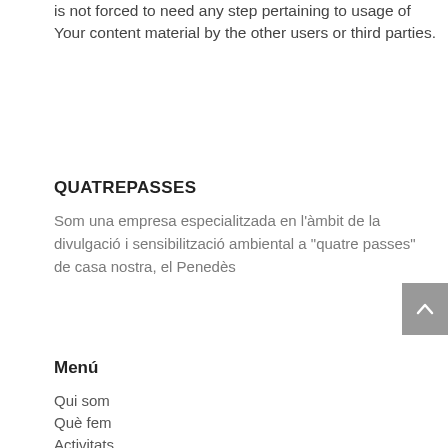is not forced to need any step pertaining to usage of Your content material by the other users or third parties.
QUATREPASSES
Som una empresa especialitzada en l’àmbit de la divulgació i sensibilització ambiental a “quatre passes” de casa nostra, el Penedès
Menú
Qui som
Què fem
Activitats